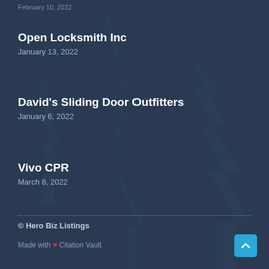February 10, 2022
Open Locksmith Inc
January 13, 2022
David's Sliding Door Outfitters
January 6, 2022
Vivo CPR
March 8, 2022
© Hero Biz Listings
Made with ❤ Citation Vault